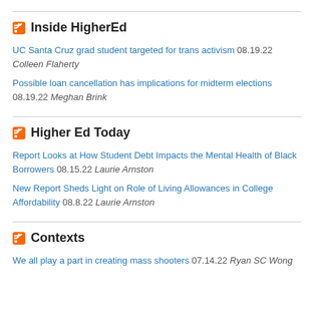Inside HigherEd
UC Santa Cruz grad student targeted for trans activism 08.19.22 Colleen Flaherty
Possible loan cancellation has implications for midterm elections 08.19.22 Meghan Brink
Higher Ed Today
Report Looks at How Student Debt Impacts the Mental Health of Black Borrowers 08.15.22 Laurie Arnston
New Report Sheds Light on Role of Living Allowances in College Affordability 08.8.22 Laurie Arnston
Contexts
We all play a part in creating mass shooters 07.14.22 Ryan SC Wong